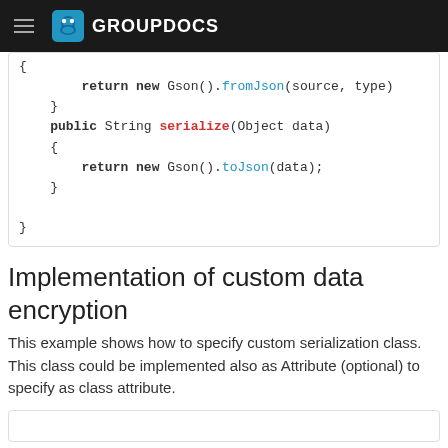GROUPDOCS
{ return new Gson().fromJson(source, type) } public String serialize(Object data) { return new Gson().toJson(data); } }
Implementation of custom data encryption
This example shows how to specify custom serialization class. This class could be implemented also as Attribute (optional) to specify as class attribute.